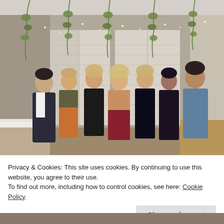[Figure (photo): Group photo of seven people (six women and one man) standing together in a restaurant setting with white tablecloths, wooden tables, and green leafy vines with fairy lights hanging on the wall behind them.]
Privacy & Cookies: This site uses cookies. By continuing to use this website, you agree to their use.
To find out more, including how to control cookies, see here: Cookie Policy
Close and accept